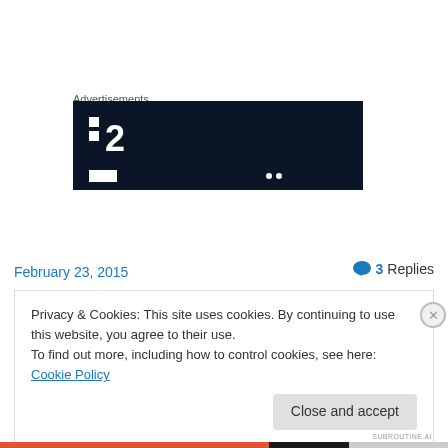Advertisements
[Figure (screenshot): Dark advertisement banner with white logo showing two small squares and large number '2' on dark navy background]
February 23, 2015
3 Replies
Privacy & Cookies: This site uses cookies. By continuing to use this website, you agree to their use.
To find out more, including how to control cookies, see here: Cookie Policy
Close and accept